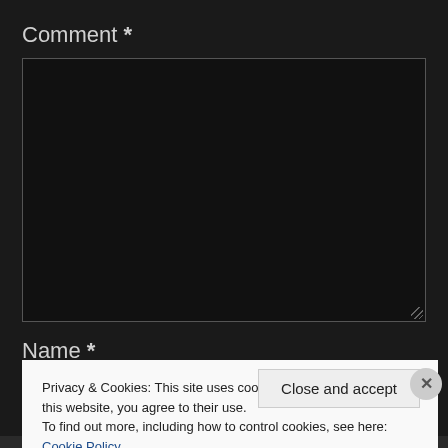Comment *
[Figure (screenshot): Empty textarea input box with dark background and resize handle in bottom-right corner]
Name *
Privacy & Cookies: This site uses cookies. By continuing to use this website, you agree to their use.
To find out more, including how to control cookies, see here: Cookie Policy
Close and accept